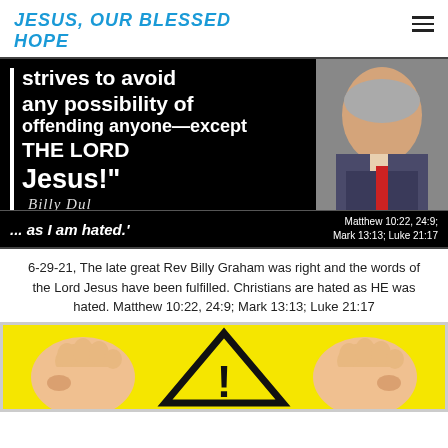JESUS, OUR BLESSED HOPE
[Figure (photo): Black background image with white bold text quote: 'strives to avoid any possibility of offending anyone—except THE LORD Jesus!' with a signature, and a photo of Rev Billy Graham on the right side. Bottom bar reads '... as I am hated.' with scripture references Matthew 10:22, 24:9; Mark 13:13; Luke 21:17]
6-29-21, The late great Rev Billy Graham was right and the words of the Lord Jesus have been fulfilled. Christians are hated as HE was hated. Matthew 10:22, 24:9; Mark 13:13; Luke 21:17
[Figure (illustration): Yellow warning sign background with cartoon fists and a black triangle warning symbol in the center]